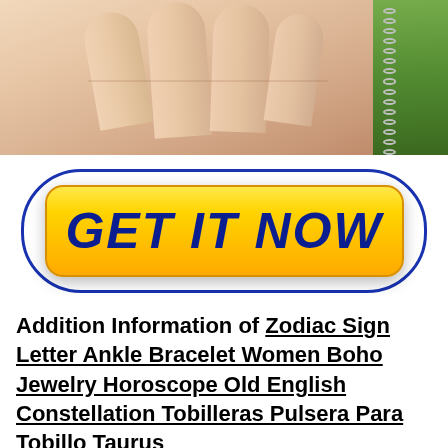[Figure (photo): Close-up photo of a hand (fingers) holding or displaying a delicate silver chain bracelet/anklet, with green foliage in the background on the right side.]
[Figure (infographic): A large yellow rounded button with the text 'GET IT NOW' in bold dark blue italic letters, surrounded by a dark blue oval outline on a white background.]
Addition Information of Zodiac Sign Letter Ankle Bracelet Women Boho Jewelry Horoscope Old English Constellation Tobilleras Pulsera Para Tobillo Taurus